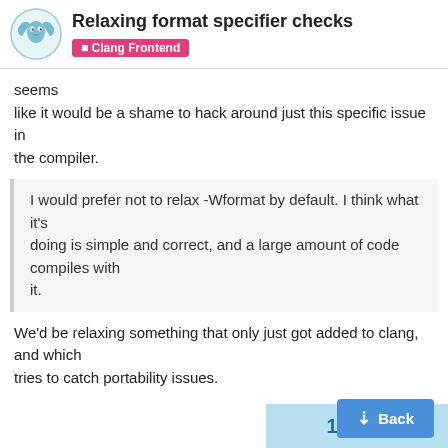Relaxing format specifier checks — Clang Frontend
seems like it would be a shame to hack around just this specific issue in the compiler.
I would prefer not to relax -Wformat by default. I think what it's doing is simple and correct, and a large amount of code compiles with it.
We'd be relaxing something that only just got added to clang, and which tries to catch portability issues.
-Wformat has been in a long time. From what I understand it's just that it recently started caring about signed